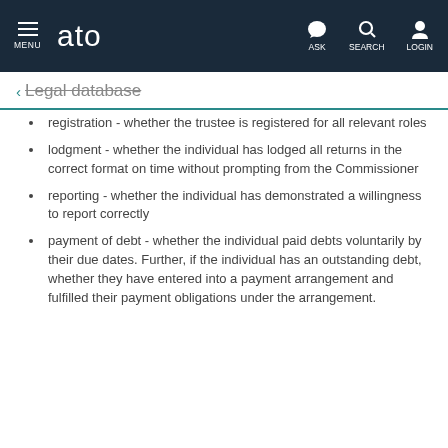MENU | ato | ASK | SEARCH | LOGIN
< Legal database
registration - whether the trustee is registered for all relevant roles
lodgment - whether the individual has lodged all returns in the correct format on time without prompting from the Commissioner
reporting - whether the individual has demonstrated a willingness to report correctly
payment of debt - whether the individual paid debts voluntarily by their due dates. Further, if the individual has an outstanding debt, whether they have entered into a payment arrangement and fulfilled their payment obligations under the arrangement.